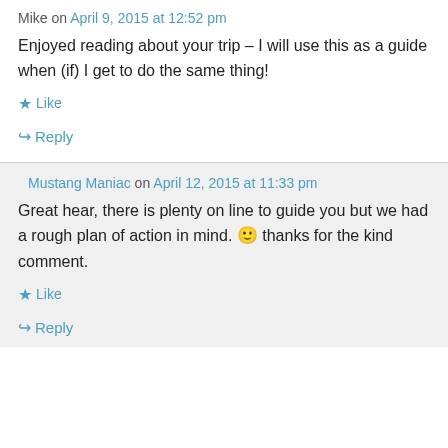Mike on April 9, 2015 at 12:52 pm
Enjoyed reading about your trip – I will use this as a guide when (if) I get to do the same thing!
★ Like
↪ Reply
Mustang Maniac on April 12, 2015 at 11:33 pm
Great hear, there is plenty on line to guide you but we had a rough plan of action in mind. 🙂 thanks for the kind comment.
★ Like
↪ Reply